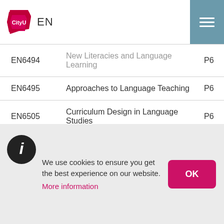CityU EN
| Code | Title |  |
| --- | --- | --- |
| EN6494 | New Literacies and Language Learning | P6 |
| EN6495 | Approaches to Language Teaching | P6 |
| EN6505 | Curriculum Design in Language Studies | P6 |
| EN6508 | Critical Approaches to Literature | P6 |
| EN6509 | World Literatures in English | P6 |
| EN6510 | Asian and Asian Diaspora Literature in English | P6 |
| EN6511 | Teaching English for Academic Purposes | P6 |
| EN6512 | Special Topics in English Studies | P6 |
We use cookies to ensure you get the best experience on our website.
More information